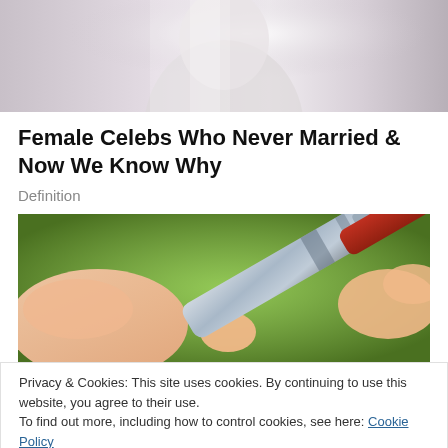[Figure (photo): Top portion of a photo showing a figure/person in light gray tones against a bright background, cropped at the top of the page]
Female Celebs Who Never Married & Now We Know Why
Definition
[Figure (photo): Close-up photo of hands holding a lancet/pen device being pressed against a fingertip for a blood glucose test, with green blurred background]
Privacy & Cookies: This site uses cookies. By continuing to use this website, you agree to their use.
To find out more, including how to control cookies, see here: Cookie Policy
Close and accept
[Figure (photo): Bottom sliver of another photo, showing a yellow-green background, partially visible at the bottom of the page]